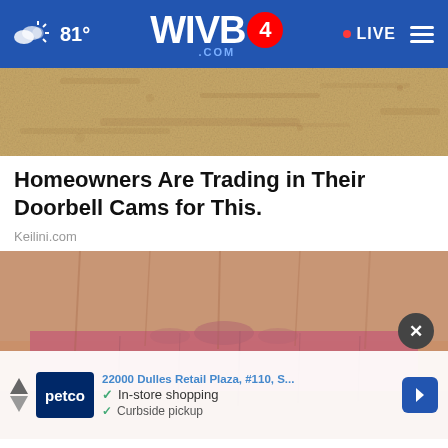WIVB4.COM — 81° — LIVE
[Figure (photo): Close-up of sandy/stone textured surface in tan and beige tones]
Homeowners Are Trading in Their Doorbell Cams for This.
Keilini.com
[Figure (photo): Extreme close-up of aged lips and surrounding wrinkled skin in pink and tan tones, with an advertisement overlay for Petco showing '22000 Dulles Retail Plaza, #110, S...', 'In-store shopping', 'Curbside pickup' and navigation arrows]
22000 Dulles Retail Plaza, #110, S...